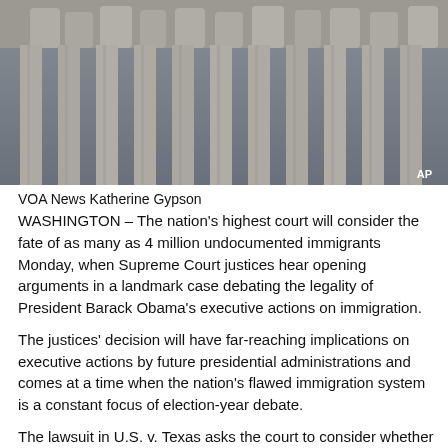[Figure (photo): Exterior photograph of the U.S. Supreme Court building showing columns and sculptural frieze, with AP watermark in lower right]
VOA News Katherine Gypson
WASHINGTON – The nation's highest court will consider the fate of as many as 4 million undocumented immigrants Monday, when Supreme Court justices hear opening arguments in a landmark case debating the legality of President Barack Obama's executive actions on immigration.
The justices' decision will have far-reaching implications on executive actions by future presidential administrations and comes at a time when the nation's flawed immigration system is a constant focus of election-year debate.
The lawsuit in U.S. v. Texas asks the court to consider whether the president's 2014 executive actions deferring deportations for some undocumented immigrants are within the government's authority to direct immigration policy, or whether the president exceeded his constitutional authority by making new immigration laws.
Pending lawsuits